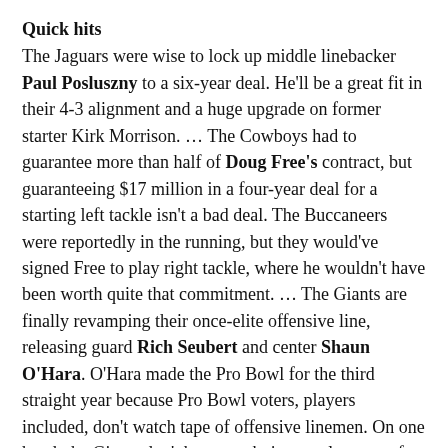Quick hits
The Jaguars were wise to lock up middle linebacker Paul Posluszny to a six-year deal. He'll be a great fit in their 4-3 alignment and a huge upgrade on former starter Kirk Morrison. … The Cowboys had to guarantee more than half of Doug Free's contract, but guaranteeing $17 million in a four-year deal for a starting left tackle isn't a bad deal. The Buccaneers were reportedly in the running, but they would've signed Free to play right tackle, where he wouldn't have been worth quite that commitment. … The Giants are finally revamping their once-elite offensive line, releasing guard Rich Seubert and center Shaun O'Hara. O'Hara made the Pro Bowl for the third straight year because Pro Bowl voters, players included, don't watch tape of offensive linemen. On one hand, the Giants don't have an obvious replacement for either player (especially after releasing Shaun Andrews), but O'Hara and Seubert both came out of